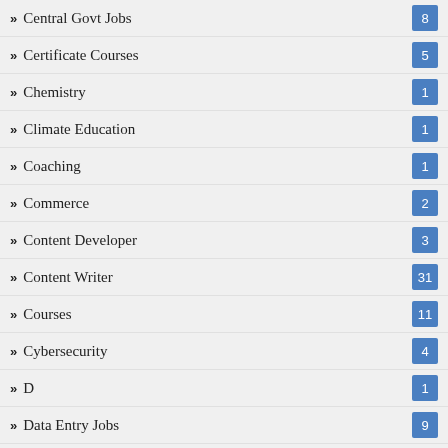Central Govt Jobs
Certificate Courses
Chemistry
Climate Education
Coaching
Commerce
Content Developer
Content Writer
Courses
Cybersecurity
D
Data Entry Jobs
Data Science Courses